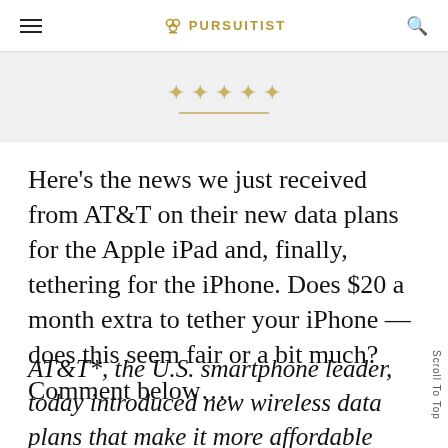≡ ❧ PURSUITIST 🔍
[Figure (other): Five decorative gold stars with a short gold underline below them on a light gray background]
Here's the news we just received from AT&T on their new data plans for the Apple iPad and, finally, tethering for the iPhone. Does $20 a month extra to tether your iPhone — does this seem fair or a bit much? Comment below….
AT&T*, the U.S. smartphone leader, today introduced new wireless data plans that make it more affordable for more people to enjoy the